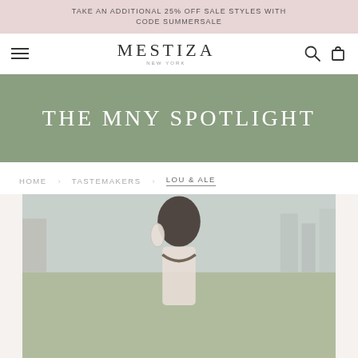TAKE AN ADDITIONAL 25% OFF SALE STYLES WITH CODE SUMMERSALE
[Figure (logo): Mestiza New York logo with hamburger menu, search icon, and shopping bag icon in navigation bar]
THE MNY SPOTLIGHT
HOME
TASTEMAKERS
LOU & ALE
[Figure (photo): Woman wearing a white dress with statement earrings, photographed from above against an outdoor urban background with greenery and city skyline]